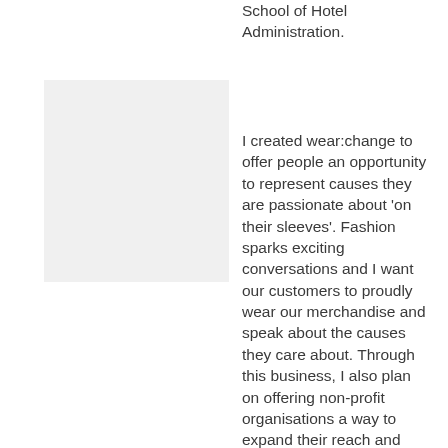School of Hotel Administration.
[Figure (photo): Light gray placeholder image box]
I created wear:change to offer people an opportunity to represent causes they are passionate about 'on their sleeves'. Fashion sparks exciting conversations and I want our customers to proudly wear our merchandise and speak about the causes they care about. Through this business, I also plan on offering non-profit organisations a way to expand their reach and increase their fundraising efforts.